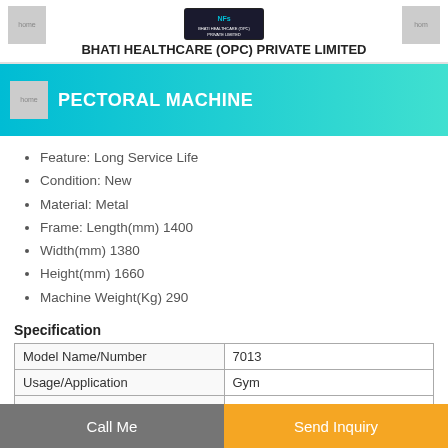BHATI HEALTHCARE (OPC) PRIVATE LIMITED
PECTORAL MACHINE
Feature: Long Service Life
Condition: New
Material: Metal
Frame: Length(mm) 1400
Width(mm) 1380
Height(mm) 1660
Machine Weight(Kg) 290
Specification
| Model Name/Number | 7013 |
| --- | --- |
| Usage/Application | Gym |
| Net Wt. | 275 Kg |
Call Me
Send Inquiry